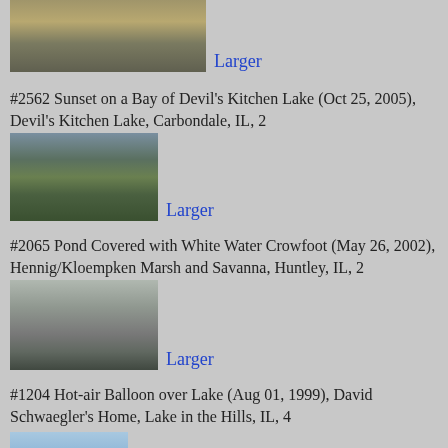[Figure (photo): Partial top of a lake/marsh photo with reeds and mist, cropped at top of page]
Larger
#2562 Sunset on a Bay of Devil's Kitchen Lake (Oct 25, 2005), Devil's Kitchen Lake, Carbondale, IL, 2
[Figure (photo): Sunset on a bay with trees reflecting on calm water, autumn foliage]
Larger
#2065 Pond Covered with White Water Crowfoot (May 26, 2002), Hennig/Kloempken Marsh and Savanna, Huntley, IL, 2
[Figure (photo): A pond covered with white water crowfoot plants, trees in background]
Larger
#1204 Hot-air Balloon over Lake (Aug 01, 1999), David Schwaegler's Home, Lake in the Hills, IL, 4
[Figure (photo): Partial view of hot-air balloon over a lake, blue sky with clouds]